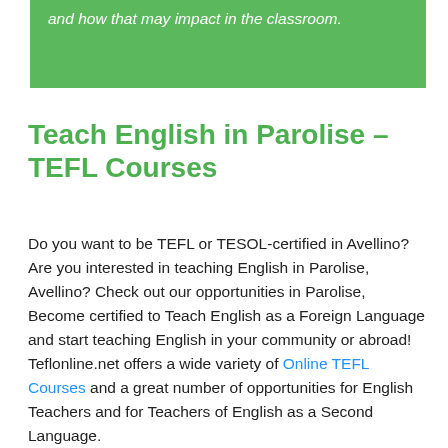and how that may impact in the classroom.
Teach English in Parolise – TEFL Courses
Do you want to be TEFL or TESOL-certified in Avellino? Are you interested in teaching English in Parolise, Avellino? Check out our opportunities in Parolise, Become certified to Teach English as a Foreign Language and start teaching English in your community or abroad! Teflonline.net offers a wide variety of Online TEFL Courses and a great number of opportunities for English Teachers and for Teachers of English as a Second Language. Here Below you can check out the feedback (for one